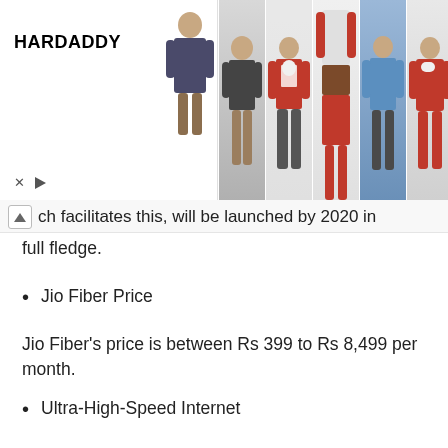[Figure (photo): Advertisement banner for HARDADDY brand showing men's Christmas/holiday themed clothing. Left panel shows the brand name HARDADDY with close and play icons. Right panel shows 5 clothing items: a man in casual wear, a Santa Claus sweater, a red and white Santa hoodie, a blue floral shirt, and a red Santa hoodie.]
ch facilitates this, will be launched by 2020 in full fledge.
Jio Fiber Price
Jio Fiber's price is between Rs 399 to Rs 8,499 per month.
Ultra-High-Speed Internet
The average internet speed in the US is 19Mbsps. But Jio's basic plan itself will be even faster.